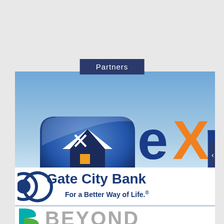Partners
[Figure (logo): eXp Realty logo on sky background]
[Figure (logo): Gate City Bank logo with tagline 'For a Better Way of Life.']
[Figure (logo): Beyond logo (partially visible)]